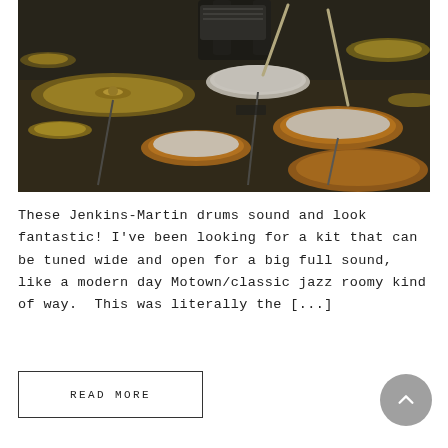[Figure (photo): Overhead view of a drum kit with orange/amber colored drums, cymbals, and a drummer playing with drumsticks visible. The kit includes snare drums, toms, hi-hats and cymbals arranged in a typical drum set configuration.]
These Jenkins-Martin drums sound and look fantastic! I've been looking for a kit that can be tuned wide and open for a big full sound, like a modern day Motown/classic jazz roomy kind of way.  This was literally the [...]
READ MORE